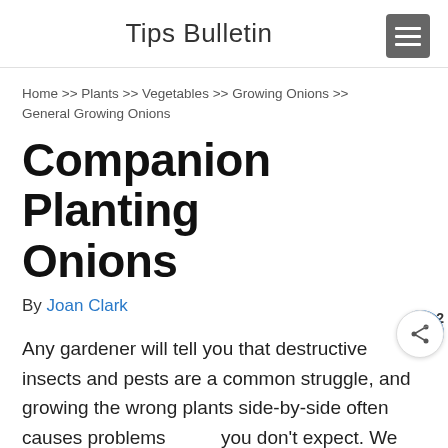Tips Bulletin
Home >> Plants >> Vegetables >> Growing Onions >> General Growing Onions
Companion Planting Onions
By Joan Clark
Any gardener will tell you that destructive insects and pests are a common struggle, and growing the wrong plants side-by-side often causes problems you don't expect. We help you produce the healthiest veggies from your garden by companion planting onions with other plants.